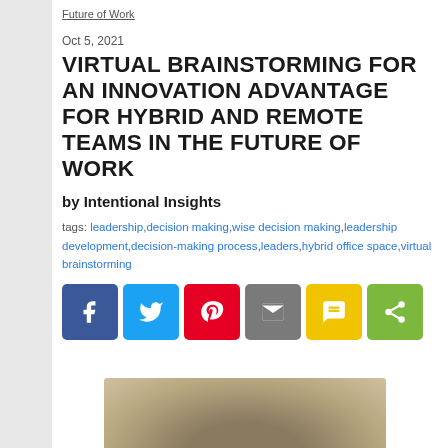Future of Work
Oct 5, 2021
VIRTUAL BRAINSTORMING FOR AN INNOVATION ADVANTAGE FOR HYBRID AND REMOTE TEAMS IN THE FUTURE OF WORK
by Intentional Insights
tags: leadership,decision making,wise decision making,leadership development,decision-making process,leaders,hybrid office space,virtual brainstorming
[Figure (infographic): Social sharing buttons row: Facebook (blue), Twitter (light blue), Pinterest (red), Email (gray), SMS (yellow), Share (green)]
[Figure (photo): Partial photo visible at bottom of page, appears to show a person]